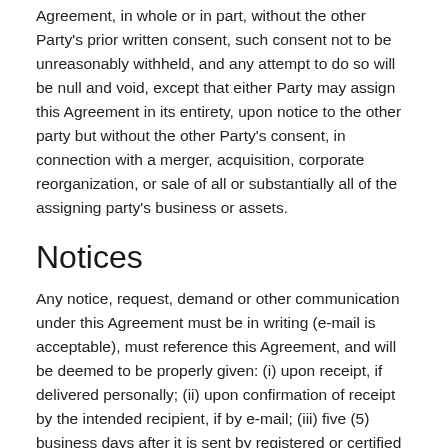Agreement, in whole or in part, without the other Party's prior written consent, such consent not to be unreasonably withheld, and any attempt to do so will be null and void, except that either Party may assign this Agreement in its entirety, upon notice to the other party but without the other Party's consent, in connection with a merger, acquisition, corporate reorganization, or sale of all or substantially all of the assigning party's business or assets.
Notices
Any notice, request, demand or other communication under this Agreement must be in writing (e-mail is acceptable), must reference this Agreement, and will be deemed to be properly given: (i) upon receipt, if delivered personally; (ii) upon confirmation of receipt by the intended recipient, if by e-mail; (iii) five (5) business days after it is sent by registered or certified mail, with written